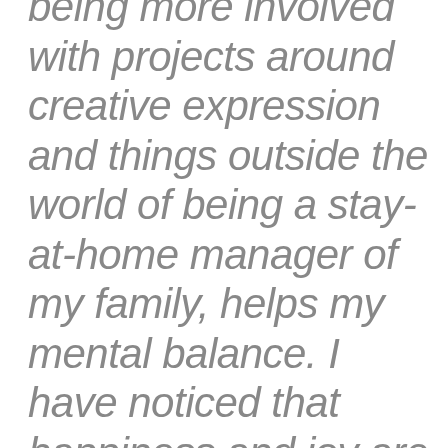being more involved with projects around creative expression and things outside the world of being a stay-at-home manager of my family, helps my mental balance. I have noticed that happiness and joy are two different things.